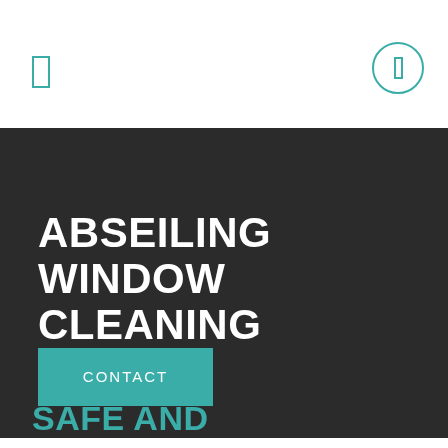[Figure (logo): Teal outlined rectangle icon in top-left of header area]
[Figure (logo): Teal outlined circle with inner rectangle icon in top-right of header area]
ABSEILING WINDOW CLEANING
CONTACT
SAFE AND